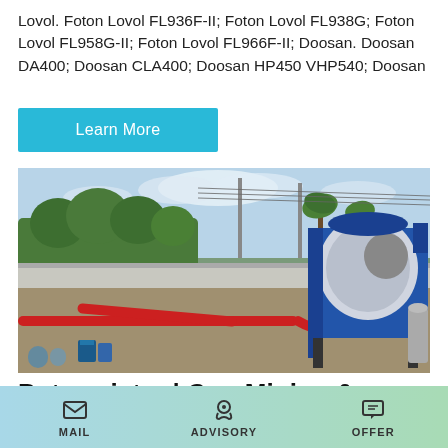Lovol. Foton Lovol FL936F-II; Foton Lovol FL938G; Foton Lovol FL958G-II; Foton Lovol FL966F-II; Doosan. Doosan DA400; Doosan CLA400; Doosan HP450 VHP540; Doosan
Learn More
[Figure (photo): Concrete mixer machine with red pipes on a construction site, with trees, power lines, and a fence in the background.]
Putzmeister | Coo Mining &
MAIL  ADVISORY  OFFER